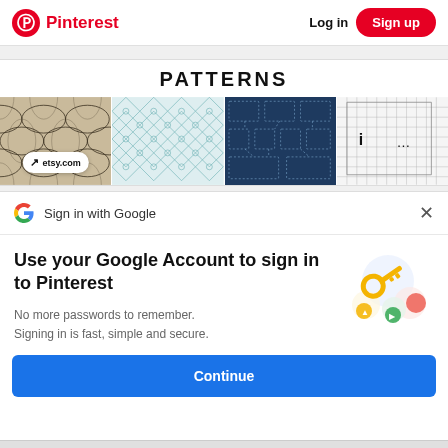Pinterest  Log in  Sign up
PATTERNS
[Figure (screenshot): Four pattern tile images: beige geometric diamond pattern with etsy.com badge overlay, light teal geometric star/diamond pattern, dark navy blueprint-style circuit pattern, light graph paper/grid pattern with 'i' and '...' icons]
Sign in with Google
Use your Google Account to sign in to Pinterest
No more passwords to remember.
Signing in is fast, simple and secure.
[Figure (illustration): Google sign-in key illustration: a golden key with colorful circular badge icons (blue, yellow, green, red/pink) suggesting account security]
Continue